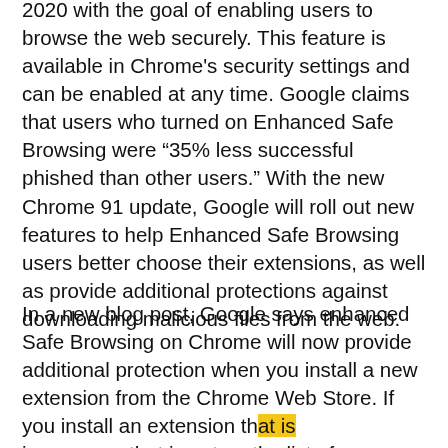2020 with the goal of enabling users to browse the web securely. This feature is available in Chrome's security settings and can be enabled at any time. Google claims that users who turned on Enhanced Safe Browsing were “35% less successful phished than other users.” With the new Chrome 91 update, Google will roll out new features to help Enhanced Safe Browsing users better choose their extensions, as well as provide additional protections against downloading malicious files from the web.
In a new blog post, Google says enhanced Safe Browsing on Chrome will now provide additional protection when you install a new extension from the Chrome Web Store. If you install an extension that is insecure or that is not on the list of extensions...